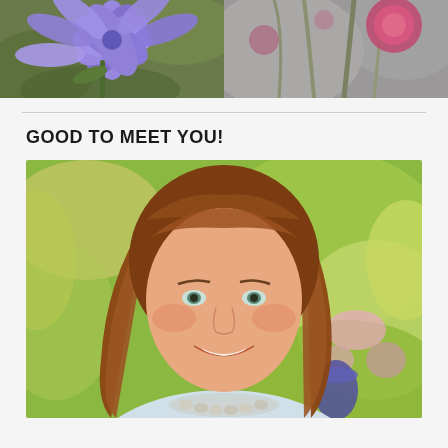[Figure (photo): Two flower photos side by side at top: left shows purple cornflower close-up, right shows pink/magenta flower with grey-green stems]
GOOD TO MEET YOU!
[Figure (photo): Portrait photo of a smiling woman with long auburn/brown hair, wearing a light blue top and stone necklace, photographed outdoors in a garden with blurred colorful flowers in background]